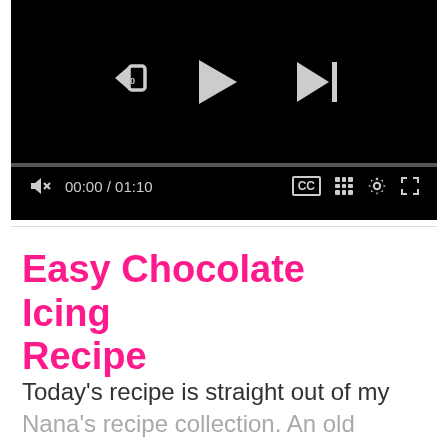[Figure (screenshot): Video player with black background showing playback controls: replay-10s button, play button, skip-next button, progress bar, mute icon, time display '00:00 / 01:10', CC button, grid/chapters button, settings gear, and fullscreen expand button.]
Easy Chocolate Icing Recipe
Today's recipe is straight out of my Nana's recipe collection. An old fashioned chocolate icing that we have